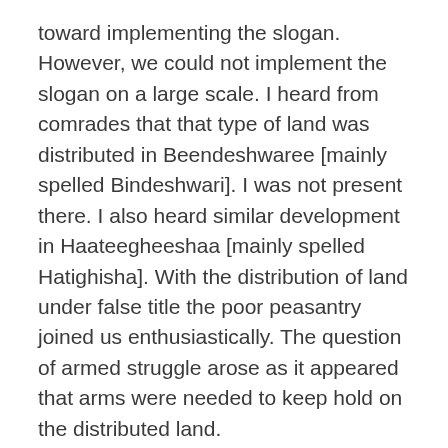toward implementing the slogan. However, we could not implement the slogan on a large scale. I heard from comrades that that type of land was distributed in Beendeshwaree [mainly spelled Bindeshwari]. I was not present there. I also heard similar development in Haateegheeshaa [mainly spelled Hatighisha]. With the distribution of land under false title the poor peasantry joined us enthusiastically. The question of armed struggle arose as it appeared that arms were needed to keep hold on the distributed land.
The issue of returning back goods and properties of the poor mortgaged to rich farmers and usurers was coming up in our movement. It was developing towards the program. But we